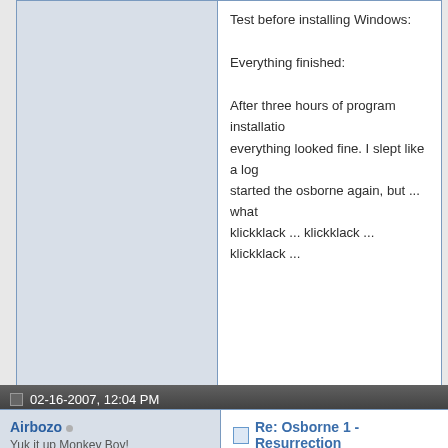Test before installing Windows:
Everything finished:
After three hours of program installation everything looked fine. I slept like a log. started the osborne again, but ... what klickklack ... klickklack ... klickklack ...
Bob Ross-Mod
Casemod "BRUBCAT"
Osborne 1 - Resurrection
02-16-2007, 12:04 PM
Airbozo
Yuk it up Monkey Boy!
Re: Osborne 1 - Resurrection